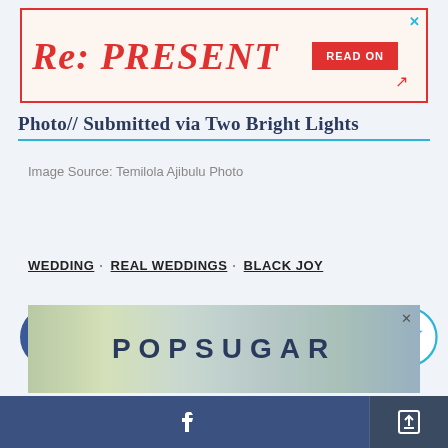[Figure (screenshot): Advertisement banner for 'Re: PRESENT' with red border and READ ON button]
Photo // Submitted via Two Bright Lights
Image Source: Temilola Ajibulu Photo
WEDDING · REAL WEDDINGS · BLACK JOY
[Figure (infographic): Social sharing icons: Facebook, Pinterest, Twitter, SMS/Chat, Email, Bookmark/Star]
[Figure (screenshot): POPSUGAR advertisement banner with gradient background]
[Figure (infographic): Bottom navigation bar with Facebook share and share/export buttons]